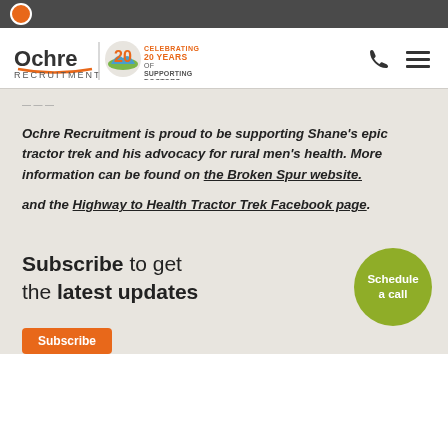[Figure (logo): Ochre Recruitment logo with '20 years celebrating supporting doctors' anniversary badge and phone/menu icons in navigation bar]
Ochre Recruitment is proud to be supporting Shane's epic tractor trek and his advocacy for rural men's health. More information can be found on the Broken Spur website.

and the Highway to Health Tractor Trek Facebook page.
Subscribe to get the latest updates